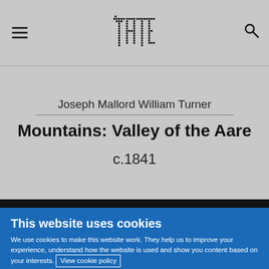TATE — navigation header with menu icon, Tate logo, and search icon
Joseph Mallord William Turner
Mountains: Valley of the Aare
c.1841
This website uses cookies
We use cookies to make this website work. They help us to improve your experience, understand how the website is used and show you content based on your interests. View cookie policy